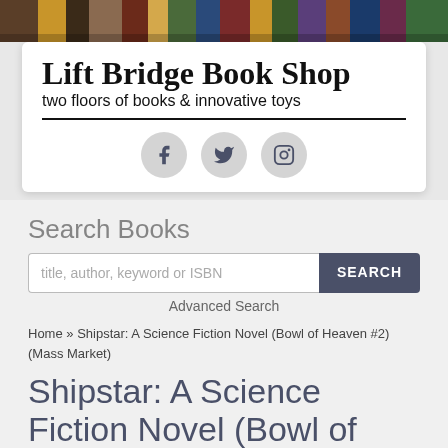[Figure (photo): Top banner photo showing colorful book spines on shelves]
Lift Bridge Book Shop
two floors of books & innovative toys
[Figure (infographic): Social media icons: Facebook, Twitter, Instagram in gray circles]
Search Books
title, author, keyword or ISBN
Advanced Search
Home » Shipstar: A Science Fiction Novel (Bowl of Heaven #2) (Mass Market)
Shipstar: A Science Fiction Novel (Bowl of Heaven #2)